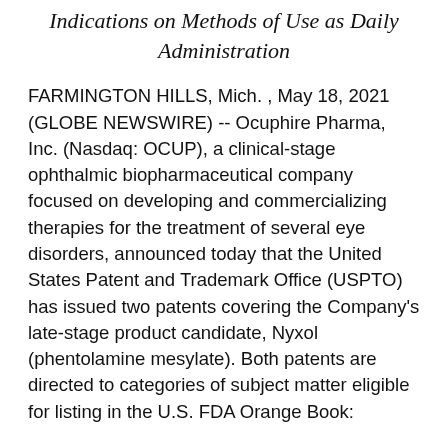Indications on Methods of Use as Daily Administration
FARMINGTON HILLS, Mich. , May 18, 2021 (GLOBE NEWSWIRE) -- Ocuphire Pharma, Inc. (Nasdaq: OCUP), a clinical-stage ophthalmic biopharmaceutical company focused on developing and commercializing therapies for the treatment of several eye disorders, announced today that the United States Patent and Trademark Office (USPTO) has issued two patents covering the Company's late-stage product candidate, Nyxol (phentolamine mesylate). Both patents are directed to categories of subject matter eligible for listing in the U.S. FDA Orange Book: